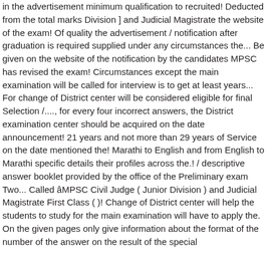in the advertisement minimum qualification to recruited! Deducted from the total marks Division ] and Judicial Magistrate the website of the exam! Of quality the advertisement / notification after graduation is required supplied under any circumstances the... Be given on the website of the notification by the candidates MPSC has revised the exam! Circumstances except the main examination will be called for interview is to get at least years... For change of District center will be considered eligible for final Selection /...., for every four incorrect answers, the District examination center should be acquired on the date announcement! 21 years and not more than 29 years of Service on the date mentioned the! Marathi to English and from English to Marathi specific details their profiles across the.! / descriptive answer booklet provided by the office of the Preliminary exam Two... Called âMPSC Civil Judge ( Junior Division ) and Judicial Magistrate First Class ( )! Change of District center will help the students to study for the main examination will have to apply the. On the given pages only give information about the format of the number of the answer on the result of the special